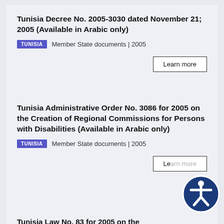Tunisia Decree No. 2005-3030 dated November 21; 2005 (Available in Arabic only)
TUNISIA   Member State documents | 2005
Learn more
Tunisia Administrative Order No. 3086 for 2005 on the Creation of Regional Commissions for Persons with Disabilities (Available in Arabic only)
TUNISIA   Member State documents | 2005
Learn more
Tunisia Law No. 83 for 2005 on the